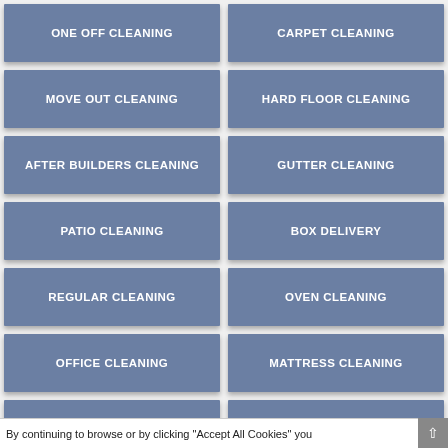ONE OFF CLEANING
CARPET CLEANING
MOVE OUT CLEANING
HARD FLOOR CLEANING
AFTER BUILDERS CLEANING
GUTTER CLEANING
PATIO CLEANING
BOX DELIVERY
REGULAR CLEANING
OVEN CLEANING
OFFICE CLEANING
MATTRESS CLEANING
By continuing to browse or by clicking "Accept All Cookies" you